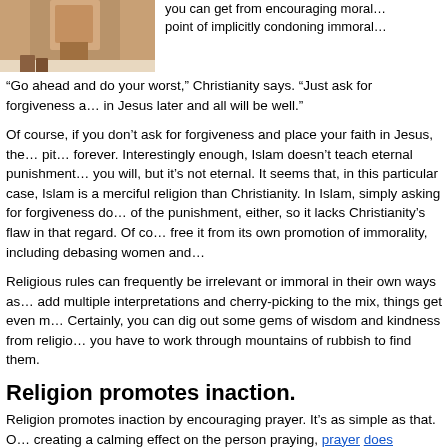[Figure (photo): Photo of a person at a table, partially cropped, top-left of page]
you can get from encouraging mora… point of implicitly condoning immoral…
“Go ahead and do your worst,” Christianity says. “Just ask for forgiveness a… in Jesus later and all will be well.”
Of course, if you don’t ask for forgiveness and place your faith in Jesus, the… pit… forever. Interestingly enough, Islam doesn’t teach eternal punishment… you will, but it’s not eternal. It seems that, in this particular case, Islam is a merciful religion than Christianity. In Islam, simply asking for forgiveness do… of the punishment, either, so it lacks Christianity’s flaw in that regard. Of co… free it from its own promotion of immorality, including debasing women and…
Religious rules can frequently be irrelevant or immoral in their own ways as… add multiple interpretations and cherry-picking to the mix, things get even m… Certainly, you can dig out some gems of wisdom and kindness from religio… you have to work through mountains of rubbish to find them.
Religion promotes inaction.
Religion promotes inaction by encouraging prayer. It’s as simple as that. O… creating a calming effect on the person praying, prayer does nothing. “Pray… …like the facts to not say something, but it’ll think about it later.” T…